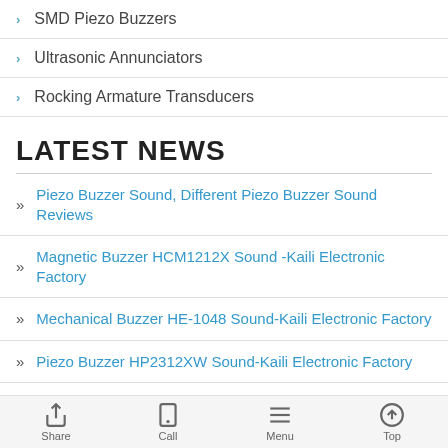SMD Piezo Buzzers
Ultrasonic Annunciators
Rocking Armature Transducers
LATEST NEWS
Piezo Buzzer Sound, Different Piezo Buzzer Sound Reviews
Magnetic Buzzer HCM1212X Sound -Kaili Electronic Factory
Mechanical Buzzer HE-1048 Sound-Kaili Electronic Factory
Piezo Buzzer HP2312XW Sound-Kaili Electronic Factory
Piezoelectric Buzzer HP2310AX Sound-Kaili Electronic Factory
Share | Call | Menu | Top